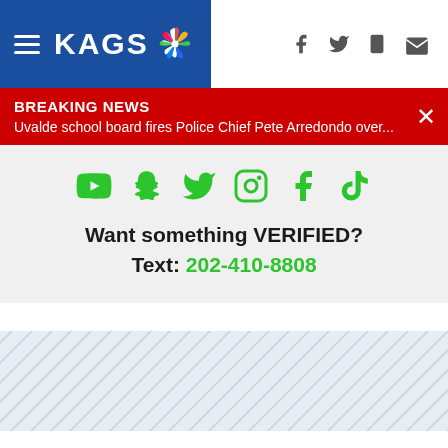KAGS NBC — Navigation bar with hamburger menu, KAGS logo, and social icons (Facebook, Twitter, mobile, email)
BREAKING NEWS
Uvalde school board fires Police Chief Pete Arredondo over...
[Figure (infographic): Social media icons row: YouTube, Snapchat, Twitter, Instagram, Facebook, TikTok — all in green]
Want something VERIFIED?
Text: 202-410-8808
[Figure (other): Hatched/diagonal striped placeholder ad block]
[Figure (other): Hatched/diagonal striped placeholder ad block]